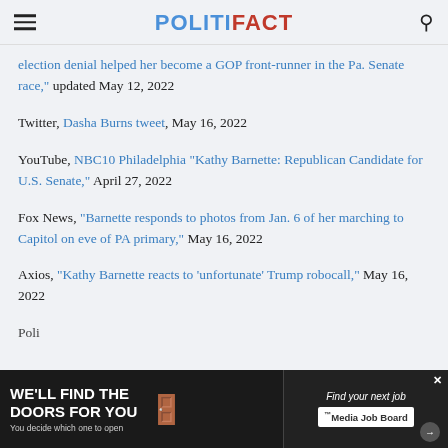POLITIFACT
election denial helped her become a GOP front-runner in the Pa. Senate race," updated May 12, 2022
Twitter, Dasha Burns tweet, May 16, 2022
YouTube, NBC10 Philadelphia "Kathy Barnette: Republican Candidate for U.S. Senate," April 27, 2022
Fox News, "Barnette responds to photos from Jan. 6 of her marching to Capitol on eve of PA primary," May 16, 2022
Axios, "Kathy Barnette reacts to ‘unfortunate’ Trump robocall," May 16, 2022
Poli...
[Figure (infographic): Advertisement banner: 'WE'LL FIND THE DOORS FOR YOU' with tagline 'You decide which one to open' and Media Job Board logo on the right side]